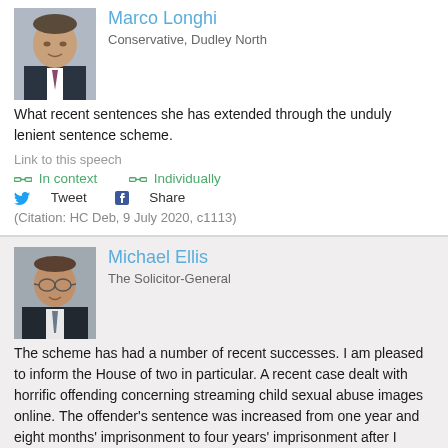[Figure (photo): Photo of Marco Longhi, a middle-aged man in a suit]
Marco Longhi
Conservative, Dudley North
What recent sentences she has extended through the unduly lenient sentence scheme.
Link to this speech
In context   Individually
Tweet   Share
(Citation: HC Deb, 9 July 2020, c1113)
[Figure (photo): Photo of Michael Ellis, a man in a suit with glasses]
Michael Ellis
The Solicitor-General
The scheme has had a number of recent successes. I am pleased to inform the House of two in particular. A recent case dealt with horrific offending concerning streaming child sexual abuse images online. The offender's sentence was increased from one year and eight months' imprisonment to four years' imprisonment after I referred it. That was the first increase since that particular offence was brought within the scheme. In addition, I personally went to court to present the first controlling and coercive unduly lenient sentence. The sentence was